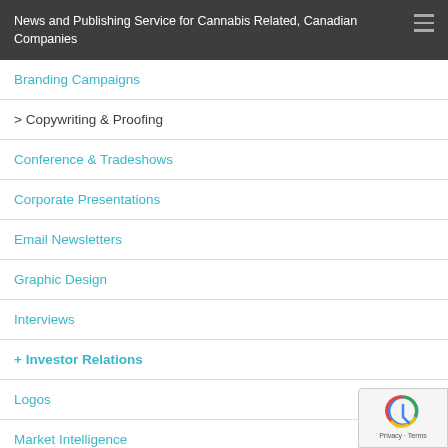News and Publishing Service for Cannabis Related, Canadian Companies
Branding Campaigns
> Copywriting & Proofing
Conference & Tradeshows
Corporate Presentations
Email Newsletters
Graphic Design
Interviews
+ Investor Relations
Logos
Market Intelligence
Multimedia Presentations